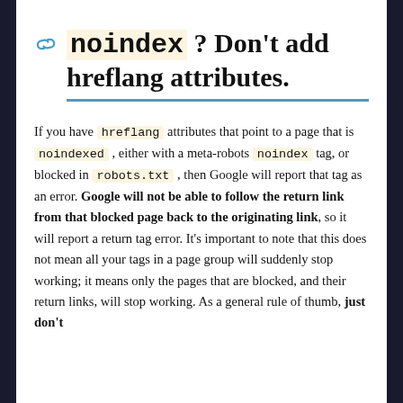noindex ? Don't add hreflang attributes.
If you have hreflang attributes that point to a page that is noindexed , either with a meta-robots noindex tag, or blocked in robots.txt , then Google will report that tag as an error. Google will not be able to follow the return link from that blocked page back to the originating link, so it will report a return tag error. It's important to note that this does not mean all your tags in a page group will suddenly stop working; it means only the pages that are blocked, and their return links, will stop working. As a general rule of thumb, just don't